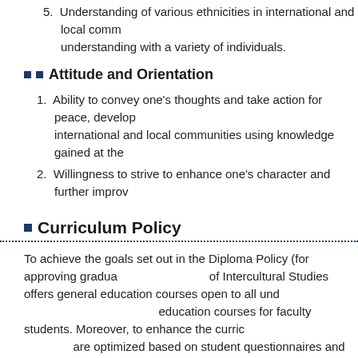5. Understanding of various ethnicities in international and local communities, and the ability to promote mutual understanding with a variety of individuals.
Attitude and Orientation
1. Ability to convey one's thoughts and take action for peace, development, and the environment in international and local communities using knowledge gained at the university.
2. Willingness to strive to enhance one's character and further improve oneself.
Curriculum Policy
To achieve the goals set out in the Diploma Policy (for approving graduation), the Faculty of Intercultural Studies offers general education courses open to all undergraduate students and specialized education courses for faculty students. Moreover, to enhance the curriculum, course offerings are optimized based on student questionnaires and data such as credit acquisition rates. The curriculum consists of core courses, advanced courses, seminar courses, and related courses. For all courses, the curriculum is laid out explicitly using a numbering system. With an awareness of the cumulative nature of learning, we put into practice "the gradual course system" where students begin with a Basic course (history, philosophy, or literature/arts) or a Regional Cultures course and progress to Advanced courses to acquire in-depth knowledge. However, they can also study subjects from other areas or join interdisciplinary programs on specific themes that are beyond the study focus of the major/sub-major to investigate diverse research paths.